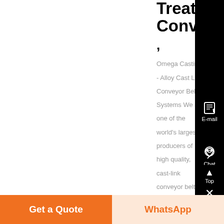Treat Conveyor ,
Omega Castings - Alloy Cast Link Conveyor Belt Systems We are one of the world's largest producers of high quality, cast-link conveyor belts Our systems include
[Figure (screenshot): Black sidebar with Chat (headset icon), E-mail (notepad icon), Top (up arrow), and close (X) buttons]
Get a Quote
WhatsApp